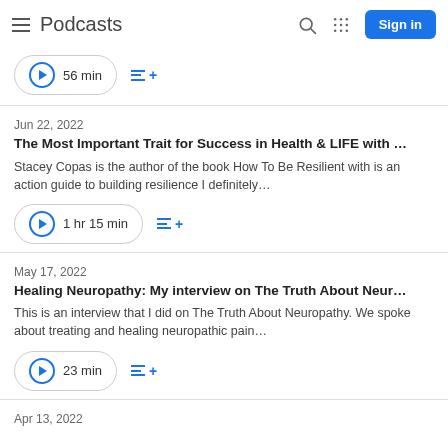Podcasts — Sign in
56 min
Jun 22, 2022
The Most Important Trait for Success in Health & LIFE with …
Stacey Copas is the author of the book How To Be Resilient with is an action guide to building resilience I definitely…
1 hr 15 min
May 17, 2022
Healing Neuropathy: My interview on The Truth About Neur…
This is an interview that I did on The Truth About Neuropathy. We spoke about treating and healing neuropathic pain…
23 min
Apr 13, 2022